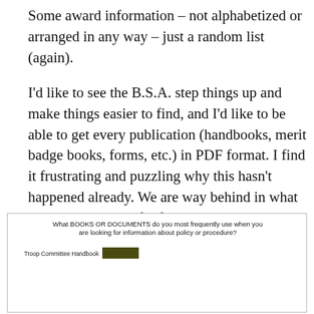Some award information – not alphabetized or arranged in any way – just a random list (again).
I'd like to see the B.S.A. step things up and make things easier to find, and I'd like to be able to get every publication (handbooks, merit badge books, forms, etc.) in PDF format. I find it frustrating and puzzling why this hasn't happened already. We are way behind in what is possible and useful for our Scouts and volunteers.
[Figure (bar-chart): What BOOKS OR DOCUMENTS do you most frequently use when you are looking for information about policy or procedure?]